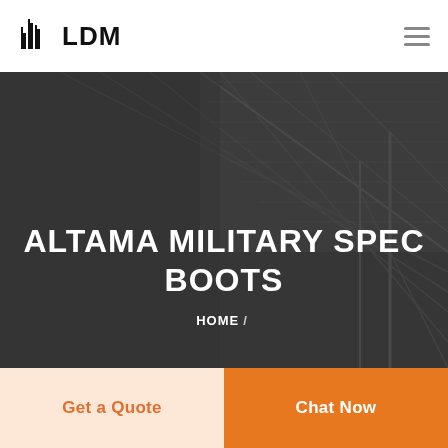LDM
[Figure (screenshot): Dark architectural/building background photo showing glass structure and ceiling, used as hero banner background]
ALTAMA MILITARY SPEC BOOTS
HOME /
Get a Quote
Chat Now